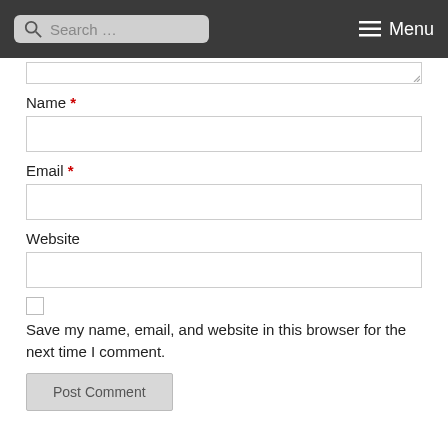Search ... Menu
Name *
Email *
Website
Save my name, email, and website in this browser for the next time I comment.
Post Comment